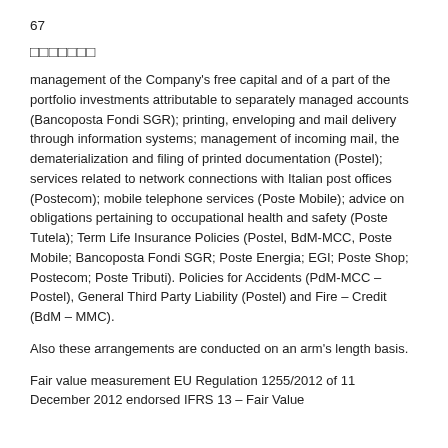67
□□□□□□□
management of the Company's free capital and of a part of the portfolio investments attributable to separately managed accounts (Bancoposta Fondi SGR); printing, enveloping and mail delivery through information systems; management of incoming mail, the dematerialization and filing of printed documentation (Postel); services related to network connections with Italian post offices (Postecom); mobile telephone services (Poste Mobile); advice on obligations pertaining to occupational health and safety (Poste Tutela); Term Life Insurance Policies (Postel, BdM-MCC, Poste Mobile; Bancoposta Fondi SGR; Poste Energia; EGI; Poste Shop; Postecom; Poste Tributi). Policies for Accidents (PdM-MCC – Postel), General Third Party Liability (Postel) and Fire – Credit (BdM – MMC).
Also these arrangements are conducted on an arm's length basis.
Fair value measurement EU Regulation 1255/2012 of 11 December 2012 endorsed IFRS 13 – Fair Value